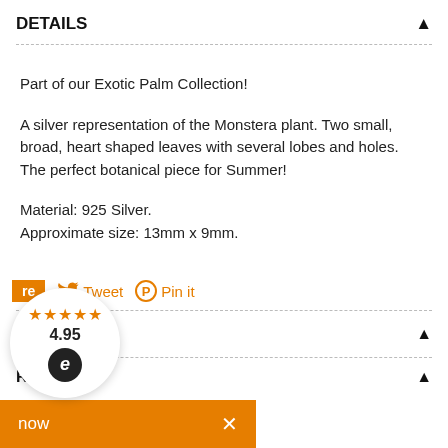DETAILS
Part of our Exotic Palm Collection!
A silver representation of the Monstera plant. Two small, broad, heart shaped leaves with several lobes and holes. The perfect botanical piece for Summer!
Material: 925 Silver.
Approximate size: 13mm x 9mm.
re  Tweet  Pin it
Y
now  ×
RETURNS
[Figure (infographic): Rating widget showing 5 orange stars, score 4.95, with Ekomi logo circle in black]